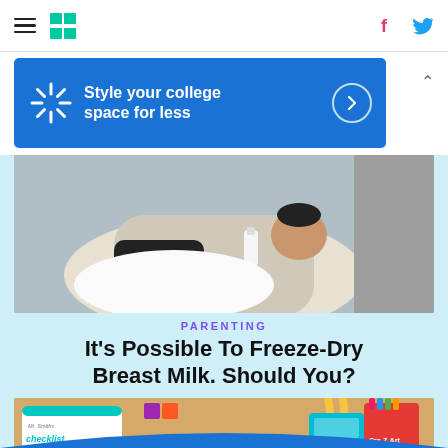HuffPost navigation bar with hamburger menu, logo, Facebook and Twitter icons
[Figure (screenshot): Walmart advertisement banner: 'Style your college space for less' with Walmart spark logo and arrow button]
[Figure (photo): Mother feeding baby with bottle]
PARENTING
It's Possible To Freeze-Dry Breast Milk. Should You?
[Figure (photo): School supplies on a desk including a checklist labeled 'Mr. Smiths checklist', pencils, Crayola markers]